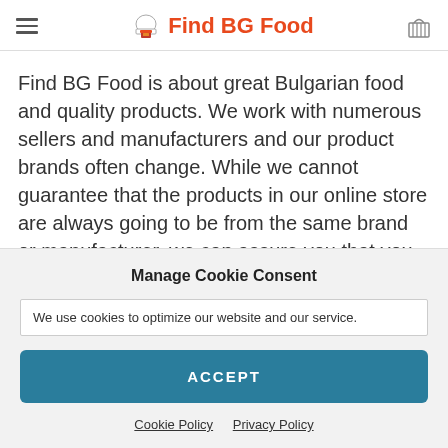Find BG Food
Find BG Food is about great Bulgarian food and quality products. We work with numerous sellers and manufacturers and our product brands often change. While we cannot guarantee that the products in our online store are always going to be from the same brand or manufacturer, we can assure you that you will always receive high quality products produced in
Manage Cookie Consent
We use cookies to optimize our website and our service.
ACCEPT
Cookie Policy  Privacy Policy